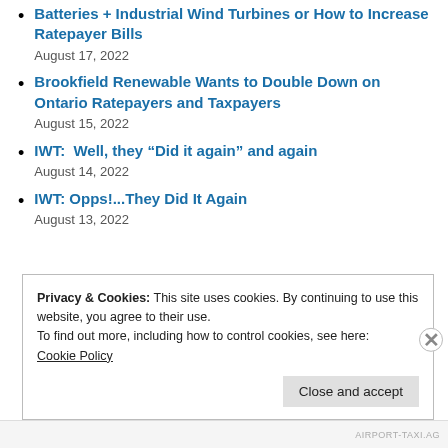Batteries + Industrial Wind Turbines or How to Increase Ratepayer Bills
August 17, 2022
Brookfield Renewable Wants to Double Down on Ontario Ratepayers and Taxpayers
August 15, 2022
IWT:  Well, they “Did it again” and again
August 14, 2022
IWT: Opps!...They Did It Again
August 13, 2022
Privacy & Cookies: This site uses cookies. By continuing to use this website, you agree to their use.
To find out more, including how to control cookies, see here:
Cookie Policy
Close and accept